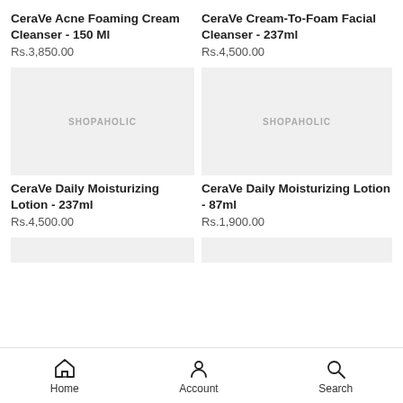CeraVe Acne Foaming Cream Cleanser - 150 Ml
Rs.3,850.00
CeraVe Cream-To-Foam Facial Cleanser - 237ml
Rs.4,500.00
[Figure (photo): Product image placeholder with SHOPAHOLIC watermark]
[Figure (photo): Product image placeholder with SHOPAHOLIC watermark]
CeraVe Daily Moisturizing Lotion - 237ml
Rs.4,500.00
CeraVe Daily Moisturizing Lotion - 87ml
Rs.1,900.00
[Figure (photo): Partial product image placeholder]
[Figure (photo): Partial product image placeholder]
Home  Account  Search